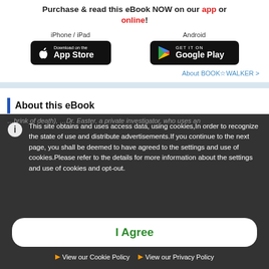Purchase & read this eBook NOW on our app or online!
[Figure (logo): App Store download button for iPhone/iPad]
[Figure (logo): Google Play download button for Android]
About BOOK☆WALKER >
About this eBook
This site obtains and uses access data, using cookies,In order to recognize the state of use and distribute advertisements.If you continue to the next page, you shall be deemed to have agreed to the settings and use of cookies.Please refer to the details for more information about the settings and use of cookies and opt-out.
I Agree
View our Cookie Policy
View our Privacy Policy